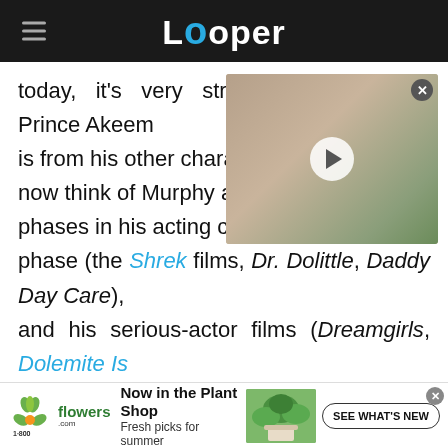Looper
today, it's very striking how different Prince Akeem is from his other characters. People now think of Murphy as someone who went through phases in his acting career, including a family-friendly phase (the Shrek films, Dr. Dolittle, Daddy Day Care), and his serious-actor films (Dreamgirls, Dolemite Is my Name), much of Murphy's early work featured him in a loud, wisecracking, and foul-mouthed persona. These characters often got at least one big scene in which they tried to one-up or embarrass the
[Figure (screenshot): Video thumbnail showing a man with gray curly hair, mustache, and blue eyes smiling, with a play button overlay]
[Figure (photo): Advertisement for 1-800-flowers.com: 'Now in the Plant Shop — Fresh picks for summer' with SEE WHAT'S NEW button and plant image]